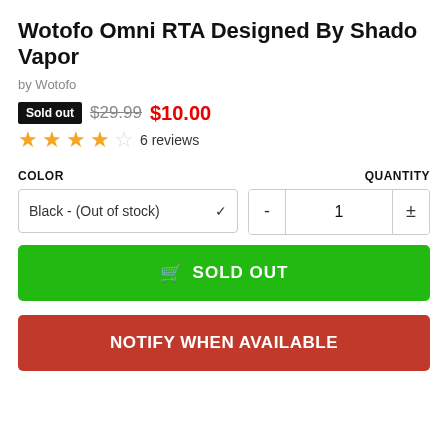Wotofo Omni RTA Designed By Shado Vapor
by Wotofo
Sold out  $29.99  $10.00
★★★★☆ 6 reviews
COLOR
QUANTITY
Black - (Out of stock)
1
🛒 SOLD OUT
NOTIFY WHEN AVAILABLE